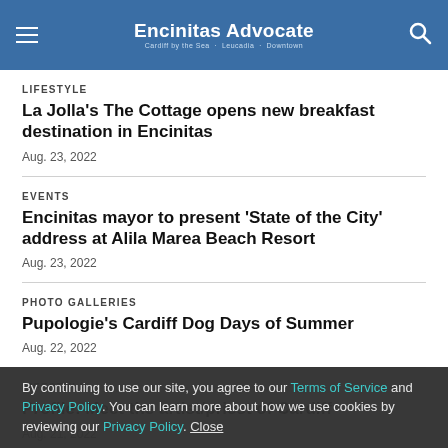Encinitas Advocate — Cardiff by the Sea · Leucadia · Downtown
LIFESTYLE
La Jolla's The Cottage opens new breakfast destination in Encinitas
Aug. 23, 2022
EVENTS
Encinitas mayor to present 'State of the City' address at Alila Marea Beach Resort
Aug. 23, 2022
PHOTO GALLERIES
Pupologie's Cardiff Dog Days of Summer
Aug. 22, 2022
LIFESTYLE
Profile: Meet the artist/priest of Cardiff
Aug. 21, 2022
By continuing to use our site, you agree to our Terms of Service and Privacy Policy. You can learn more about how we use cookies by reviewing our Privacy Policy. Close